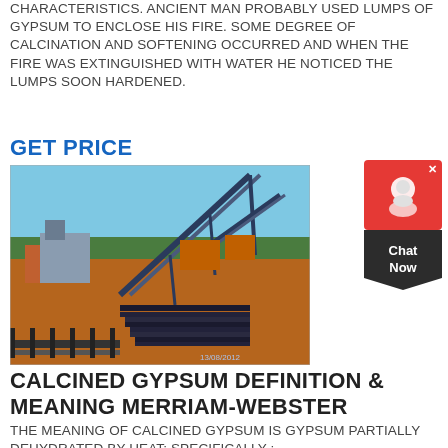CHARACTERISTICS. ANCIENT MAN PROBABLY USED LUMPS OF GYPSUM TO ENCLOSE HIS FIRE. SOME DEGREE OF CALCINATION AND SOFTENING OCCURRED AND WHEN THE FIRE WAS EXTINGUISHED WITH WATER HE NOTICED THE LUMPS SOON HARDENED.
GET PRICE
[Figure (photo): Industrial conveyor belt and mining/crushing equipment at an outdoor site, dated 13/08/2012]
[Figure (other): Chat Now customer support widget with red icon box and dark label]
CALCINED GYPSUM DEFINITION & MEANING MERRIAM-WEBSTER
THE MEANING OF CALCINED GYPSUM IS GYPSUM PARTIALLY DEHYDRATED BY HEAT; SPECIFICALLY :